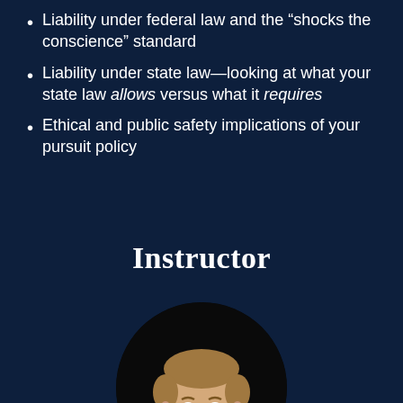Liability under federal law and the “shocks the conscience” standard
Liability under state law—looking at what your state law allows versus what it requires
Ethical and public safety implications of your pursuit policy
Instructor
[Figure (photo): Circular portrait photo of a young man with short light brown hair, visible from shoulders up, against a dark background]